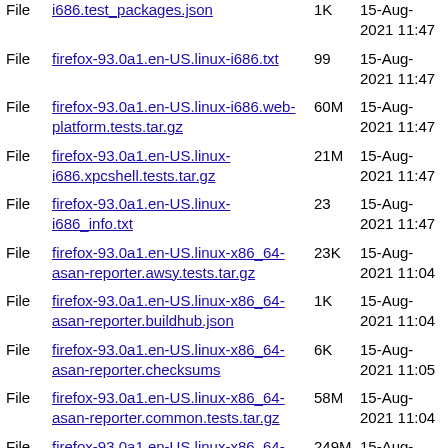| Type | Name | Size | Date |
| --- | --- | --- | --- |
| File | i686.test_packages.json | 1K | 15-Aug-2021 11:47 |
| File | firefox-93.0a1.en-US.linux-i686.txt | 99 | 15-Aug-2021 11:47 |
| File | firefox-93.0a1.en-US.linux-i686.web-platform.tests.tar.gz | 60M | 15-Aug-2021 11:47 |
| File | firefox-93.0a1.en-US.linux-i686.xpcshell.tests.tar.gz | 21M | 15-Aug-2021 11:47 |
| File | firefox-93.0a1.en-US.linux-i686_info.txt | 23 | 15-Aug-2021 11:47 |
| File | firefox-93.0a1.en-US.linux-x86_64-asan-reporter.awsy.tests.tar.gz | 23K | 15-Aug-2021 11:04 |
| File | firefox-93.0a1.en-US.linux-x86_64-asan-reporter.buildhub.json | 1K | 15-Aug-2021 11:04 |
| File | firefox-93.0a1.en-US.linux-x86_64-asan-reporter.checksums | 6K | 15-Aug-2021 11:05 |
| File | firefox-93.0a1.en-US.linux-x86_64-asan-reporter.common.tests.tar.gz | 58M | 15-Aug-2021 11:04 |
| File | firefox-93.0a1.en-US.linux-x86_64-asan-reporter.complete.mar | 249M | 15-Aug-2021 11:04 |
| File | firefox-93.0a1.en-US.linux-x86_64-asan-reporter.cppunittest.tests.tar.gz | 194M | 15-Aug-2021 11:04 |
| File | firefox-93.0a1.en-US.linux-x86_64-asan- | 1K | 15-Aug-2021 11:04 |